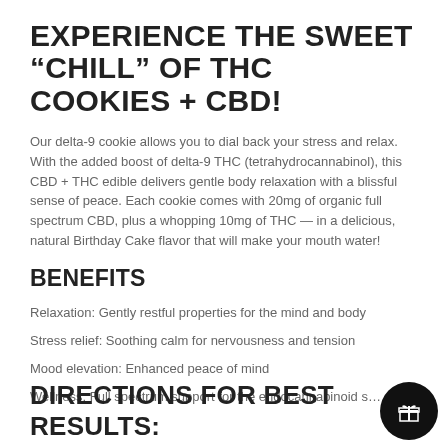EXPERIENCE THE SWEET “CHILL” OF THC COOKIES + CBD!
Our delta-9 cookie allows you to dial back your stress and relax. With the added boost of delta-9 THC (tetrahydrocannabinol), this CBD + THC edible delivers gentle body relaxation with a blissful sense of peace. Each cookie comes with 20mg of organic full spectrum CBD, plus a whopping 10mg of THC — in a delicious, natural Birthday Cake flavor that will make your mouth water!
BENEFITS
Relaxation: Gently restful properties for the mind and body
Stress relief: Soothing calm for nervousness and tension
Mood elevation: Enhanced peace of mind
Wellness: Full spectrum support for the endocannabinoid s…
DIRECTIONS FOR BEST RESULTS: